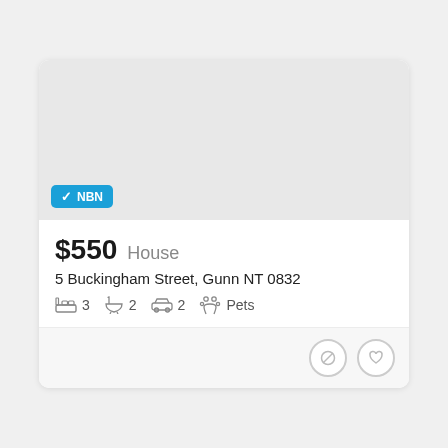[Figure (photo): Property listing card with grey photo placeholder showing NBN badge]
$550  House
5 Buckingham Street, Gunn NT 0832
3 bedrooms  2 bathrooms  2 car spaces  Pets